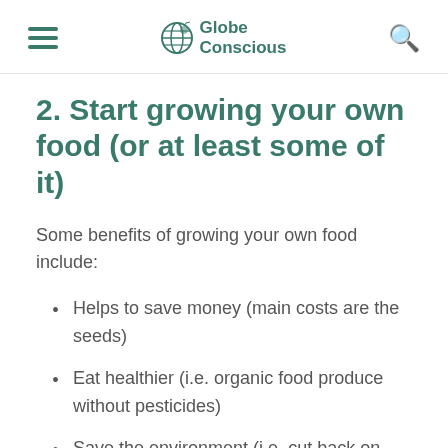Globe Conscious
2. Start growing your own food (or at least some of it)
Some benefits of growing your own food include:
Helps to save money (main costs are the seeds)
Eat healthier (i.e. organic food produce without pesticides)
Save the environment (i.e. cut back on transport and factory pollution)